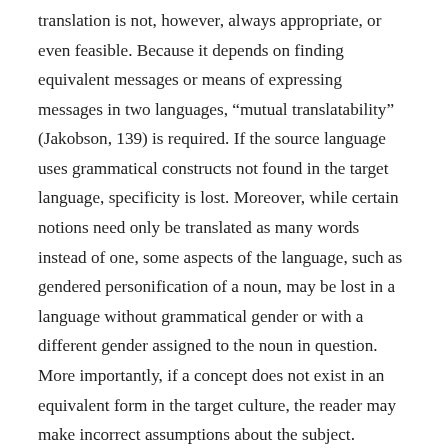translation is not, however, always appropriate, or even feasible. Because it depends on finding equivalent messages or means of expressing messages in two languages, “mutual translatability” (Jakobson, 139) is required. If the source language uses grammatical constructs not found in the target language, specificity is lost. Moreover, while certain notions need only be translated as many words instead of one, some aspects of the language, such as gendered personification of a noun, may be lost in a language without grammatical gender or with a different gender assigned to the noun in question. More importantly, if a concept does not exist in an equivalent form in the target culture, the reader may make incorrect assumptions about the subject. Jakobson chooses cheese as an example of this problem: “The English word ‘cheese’ cannot be completely identified